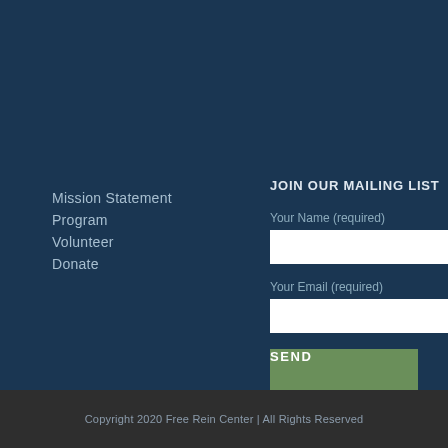Mission Statement
Program
Volunteer
Donate
JOIN OUR MAILING LIST
Your Name (required)
Your Email (required)
SEND
Copyright 2020 Free Rein Center | All Rights Reserved